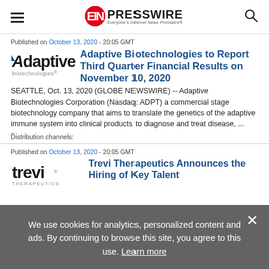EIN PRESSWIRE – Everyone's Internet News Presswire
Published on October 13, 2020 - 20:05 GMT
Adaptive Biotechnologies to Report Third Quarter Financial Results on November 10, 2020
SEATTLE, Oct. 13, 2020 (GLOBE NEWSWIRE) -- Adaptive Biotechnologies Corporation (Nasdaq: ADPT) a commercial stage biotechnology company that aims to translate the genetics of the adaptive immune system into clinical products to diagnose and treat disease, ...
Distribution channels:
Published on October 13, 2020 - 20:05 GMT
Trevi Therapeutics Announces the Hiring of Key Talent
We use cookies for analytics, personalized content and ads. By continuing to browse this site, you agree to this use. Learn more